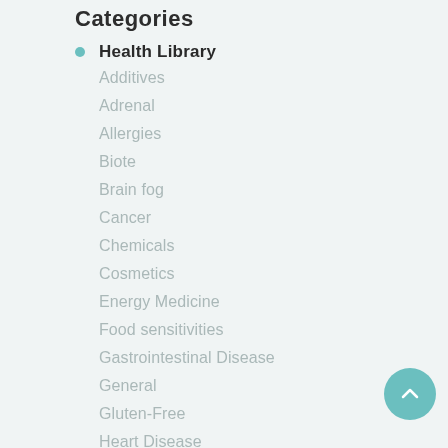Categories
Health Library
Additives
Adrenal
Allergies
Biote
Brain fog
Cancer
Chemicals
Cosmetics
Energy Medicine
Food sensitivities
Gastrointestinal Disease
General
Gluten-Free
Heart Disease
holiday